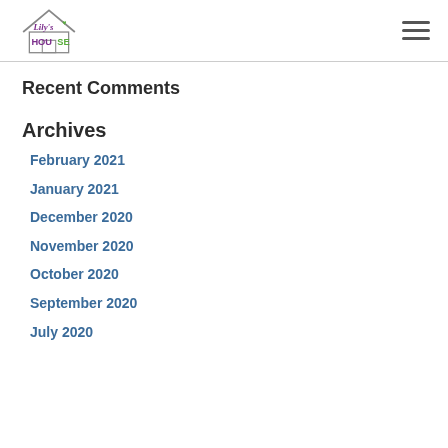Lily's House logo and navigation
Recent Comments
Archives
February 2021
January 2021
December 2020
November 2020
October 2020
September 2020
July 2020